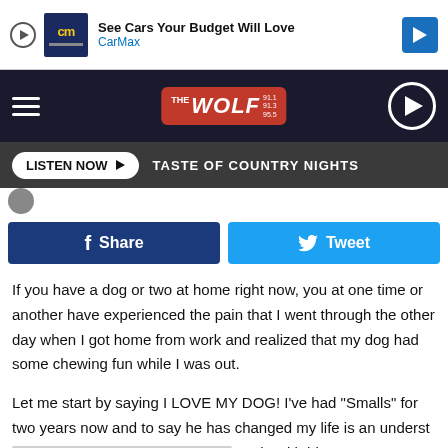[Figure (screenshot): CarMax advertisement banner with logo, play button, and navigation arrow]
[Figure (screenshot): The Wolf radio station navigation bar with hamburger menu, logo, and play button]
[Figure (screenshot): Listen Now button bar showing TASTE OF COUNTRY NIGHTS]
[Figure (screenshot): Facebook Share and Twitter Tweet social buttons]
If you have a dog or two at home right now, you at one time or another have experienced the pain that I went through the other day when I got home from work and realized that my dog had some chewing fun while I was out.
Let me start by saying I LOVE MY DOG! I've had "Smalls" for two years now and to say he has changed my life is an understatement. [redacted] y pain with hi [redacted] t